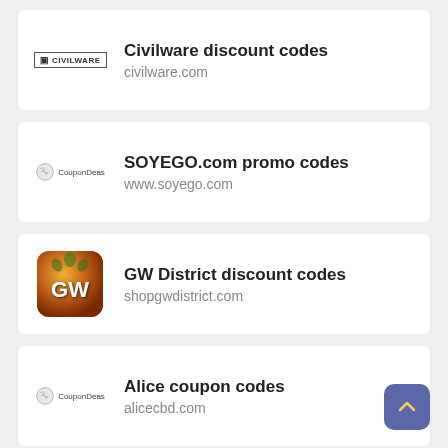Civilware discount codes
civilware.com
SOYEGO.com promo codes
www.soyego.com
GW District discount codes
shopgwdistrict.com
Alice coupon codes
alicecbd.com
MSK coupon codes
msk